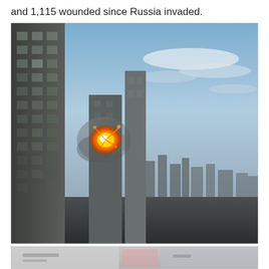and 1,115 wounded since Russia invaded.
[Figure (photo): Video still showing a missile or projectile impact/explosion on a high-rise building in an urban area. A tall apartment building is visible on the left side with a bright orange fireball explosion visible between two buildings in the center. City skyline and sky with clouds visible in the background.]
[Figure (photo): Partial view of another image/video frame at the bottom of the page, showing what appears to be text or a sign.]